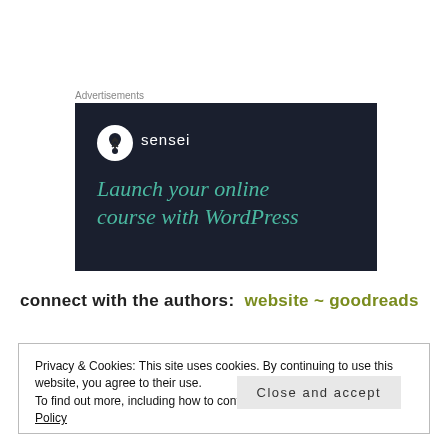Advertisements
[Figure (screenshot): Dark-themed advertisement banner for 'sensei' product. Shows a white circle logo with a tree icon, the word 'sensei' in white, and teal/green italic text reading 'Launch your online course with WordPress' on a dark navy background.]
connect with the authors:  website ~ goodreads
Privacy & Cookies: This site uses cookies. By continuing to use this website, you agree to their use.
To find out more, including how to control cookies, see here: Cookie Policy
Close and accept